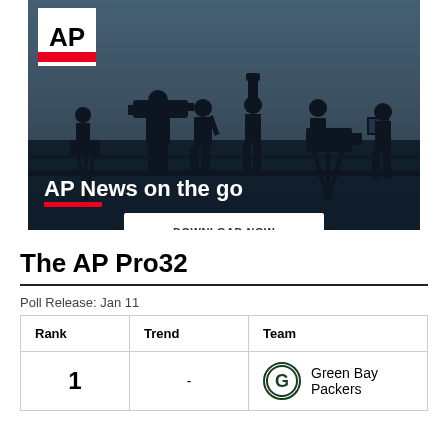[Figure (photo): AP News promotional banner with silhouettes of camera operators and journalists against a blue sky, AP logo in top left, text 'AP News on the go' with red underline, and a 'DOWNLOAD NOW' button]
The AP Pro32
Poll Release: Jan 11
| Rank | Trend | Team |
| --- | --- | --- |
| 1 | - | Green Bay Packers |